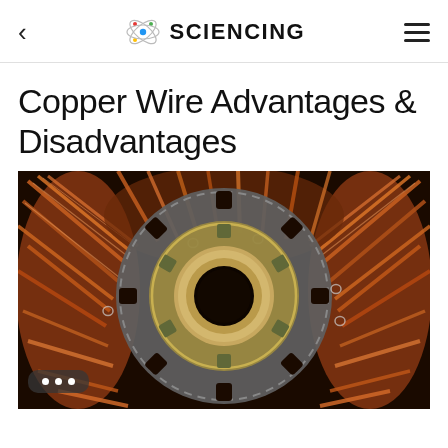SCIENCING
Copper Wire Advantages & Disadvantages
[Figure (photo): Close-up macro photograph of an electric motor or generator rotor, showing copper wire coils wound around a metallic stator core with a circular bearing or bushing in the center. The copper windings appear orange-brown, and the central hub is metallic silver and gold/brass colored.]